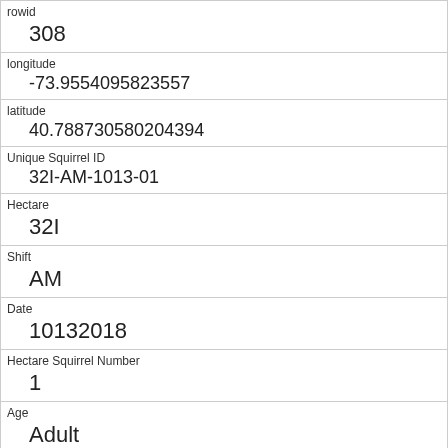| rowid | 308 |
| longitude | -73.9554095823557 |
| latitude | 40.788730580204394 |
| Unique Squirrel ID | 32I-AM-1013-01 |
| Hectare | 32I |
| Shift | AM |
| Date | 10132018 |
| Hectare Squirrel Number | 1 |
| Age | Adult |
| Primary Fur Color | Gray |
| Highlight Fur Color |  |